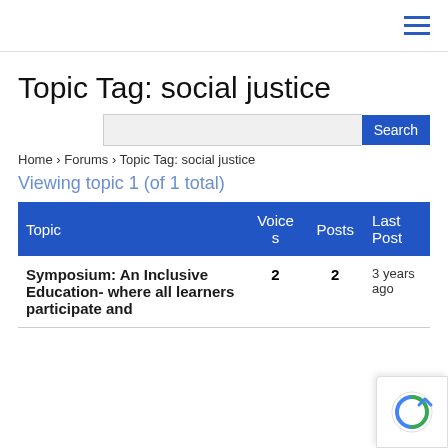≡
Topic Tag: social justice
Search
Home › Forums › Topic Tag: social justice
Viewing topic 1 (of 1 total)
| Topic | Voices | Posts | Last Post |
| --- | --- | --- | --- |
| Symposium: An Inclusive Education- where all learners participate and | 2 | 2 | 3 years ago |